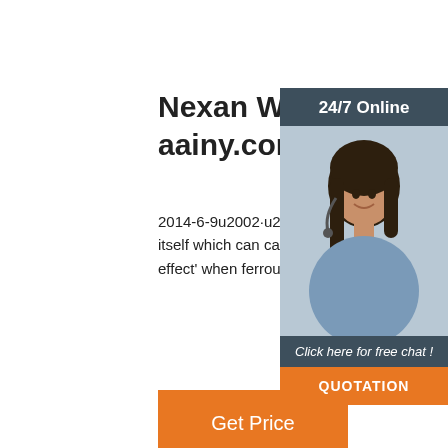Nexan Wire Cable Catalog aainy.com
2014-6-9u2002·u2002A single core cable generates an alternating magnetic field around itself which can cause large increases in voltage drop and power loss due to 'transformer effect' when ferrous metal (iron and steel) is allowed to encircle the cable.
[Figure (photo): Customer service representative woman wearing headset, with '24/7 Online' header, 'Click here for free chat!' text, and orange QUOTATION button]
Get Price